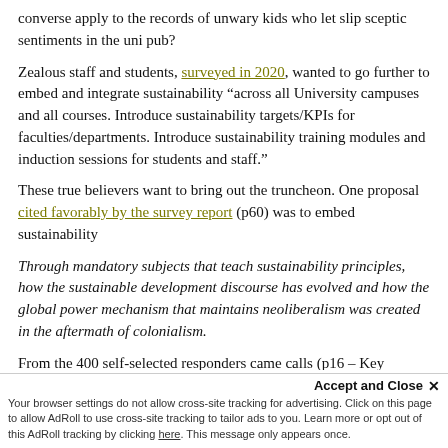converse apply to the records of unwary kids who let slip sceptic sentiments in the uni pub?
Zealous staff and students, surveyed in 2020, wanted to go further to embed and integrate sustainability “across all University campuses and all courses. Introduce sustainability targets/KPIs for faculties/departments. Introduce sustainability training modules and induction sessions for students and staff.”
These true believers want to bring out the truncheon. One proposal cited favorably by the survey report (p60) was to embed sustainability
Through mandatory subjects that teach sustainability principles, how the sustainable development discourse has evolved and how the global power mechanism that maintains neoliberalism was created in the aftermath of colonialism.
From the 400 self-selected responders came calls (p16 – Key Themes) for
Accept and Close ×
Your browser settings do not allow cross-site tracking for advertising. Click on this page to allow AdRoll to use cross-site tracking to tailor ads to you. Learn more or opt out of this AdRoll tracking by clicking here. This message only appears once.